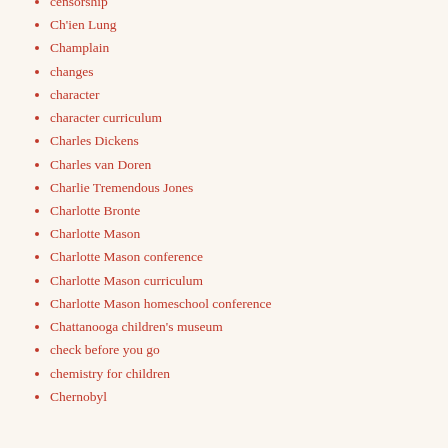censorship
Ch'ien Lung
Champlain
changes
character
character curriculum
Charles Dickens
Charles van Doren
Charlie Tremendous Jones
Charlotte Bronte
Charlotte Mason
Charlotte Mason conference
Charlotte Mason curriculum
Charlotte Mason homeschool conference
Chattanooga children's museum
check before you go
chemistry for children
Chernobyl